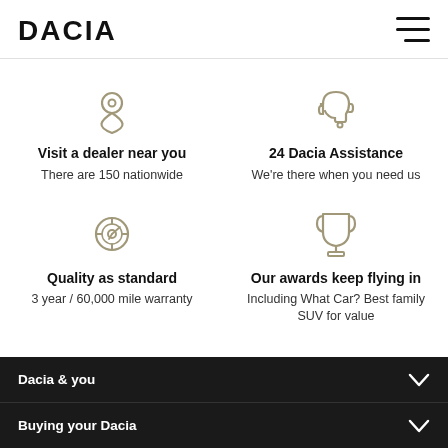DACIA
[Figure (logo): Dacia brand logo in bold black text]
[Figure (illustration): Location pin icon (outline style, grey)]
Visit a dealer near you
There are 150 nationwide
[Figure (illustration): Headset/customer service icon (outline style, grey)]
24 Dacia Assistance
We're there when you need us
[Figure (illustration): Steering wheel icon (outline style, grey)]
Quality as standard
3 year / 60,000 mile warranty
[Figure (illustration): Trophy/award cup icon (outline style, grey)]
Our awards keep flying in
Including What Car? Best family SUV for value
Dacia & you
Buying your Dacia